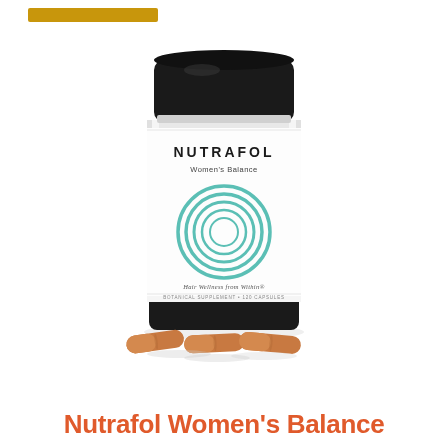[Figure (photo): Nutrafol Women's Balance supplement bottle with black cap and white label featuring teal concentric circle logo, with three tan/amber capsule pills in front of the bottle on a white background.]
Nutrafol Women's Balance